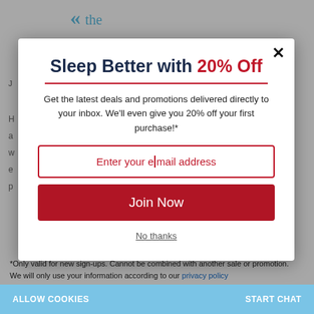[Figure (screenshot): Website background with logo showing double-quote marks and the word 'the' in teal/blue color, with partial page text visible on left side]
Sleep Better with 20% Off
Get the latest deals and promotions delivered directly to your inbox. We'll even give you 20% off your first purchase!*
Enter your email address
Join Now
No thanks
*Only valid for new sign-ups. Cannot be combined with another sale or promotion.
We will only use your information according to our privacy policy
ALLOW COOKIES
START CHAT